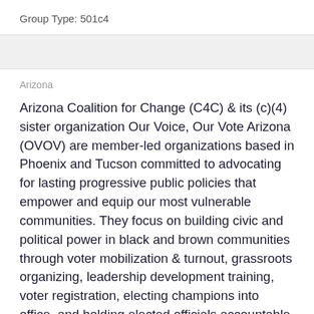Group Type: 501c4
Arizona
Arizona Coalition for Change (C4C) & its (c)(4) sister organization Our Voice, Our Vote Arizona (OVOV) are member-led organizations based in Phoenix and Tucson committed to advocating for lasting progressive public policies that empower and equip our most vulnerable communities. They focus on building civic and political power in black and brown communities through voter mobilization & turnout, grassroots organizing, leadership development training, voter registration, electing champions into office, and holding elected officials accountable. By putting people first, they develop and lift up the voices of the New American Majority to take on the nations' most